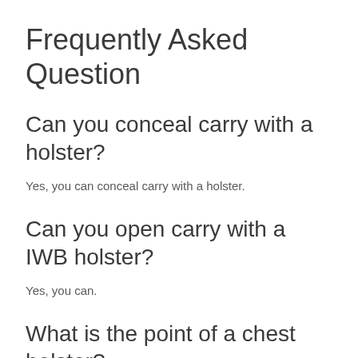Frequently Asked Question
Can you conceal carry with a holster?
Yes, you can conceal carry with a holster.
Can you open carry with a IWB holster?
Yes, you can.
What is the point of a chest holster?